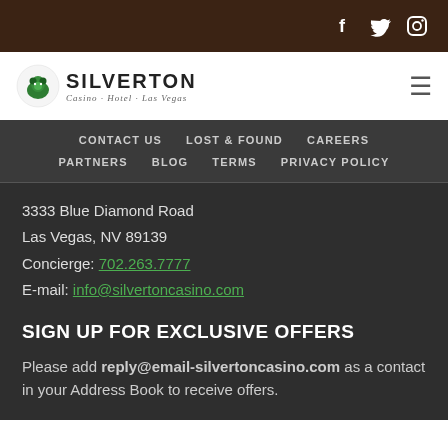[Figure (logo): Silverton Casino Hotel Las Vegas logo with raccoon icon and social media icons (Facebook, Twitter, Instagram) in top bar]
CONTACT US   LOST & FOUND   CAREERS   PARTNERS   BLOG   TERMS   PRIVACY POLICY
3333 Blue Diamond Road
Las Vegas, NV 89139
Concierge: 702.263.7777
E-mail: info@silvertoncasino.com
SIGN UP FOR EXCLUSIVE OFFERS
Please add reply@email-silvertoncasino.com as a contact in your Address Book to receive offers.